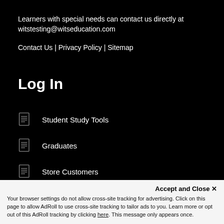Learners with special needs can contact us directly at witstesting@witseducation.com
Contact Us | Privacy Policy | Sitemap
Log In
Student Study Tools
Graduates
Store Customers
Accept and Close ✕
Your browser settings do not allow cross-site tracking for advertising. Click on this page to allow AdRoll to use cross-site tracking to tailor ads to you. Learn more or opt out of this AdRoll tracking by clicking here. This message only appears once.